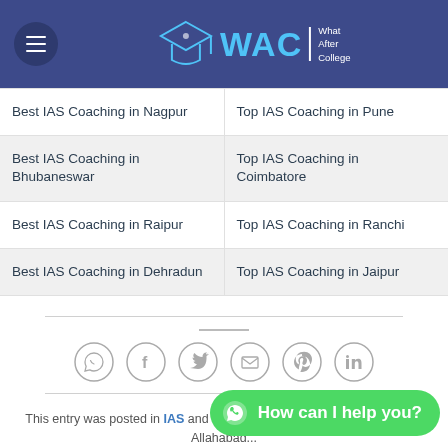WAC — What After College
Best IAS Coaching in Nagpur | Top IAS Coaching in Pune
Best IAS Coaching in Bhubaneswar | Top IAS Coaching in Coimbatore
Best IAS Coaching in Raipur | Top IAS Coaching in Ranchi
Best IAS Coaching in Dehradun | Top IAS Coaching in Jaipur
[Figure (infographic): Social sharing icons in circles: WhatsApp, Facebook, Twitter, Email, Pinterest, LinkedIn]
This entry was posted in IAS and tagged IAS coaching, ias coaching in Allahabad...